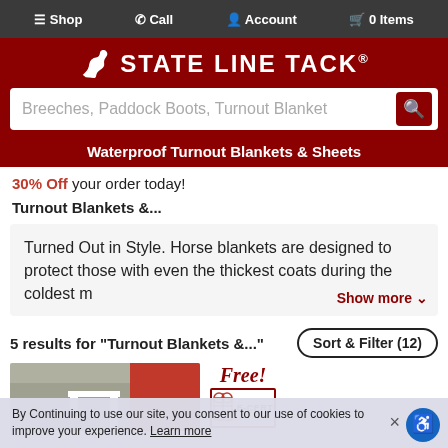Shop  Call  Account  0 Items
[Figure (logo): State Line Tack logo with horse icon and brand name on dark red background]
Breeches, Paddock Boots, Turnout Blanket
Waterproof Turnout Blankets & Sheets
30% Off your order today!
Turnout Blankets &...
Turned Out in Style. Horse blankets are designed to protect those with even the thickest coats during the coldest m...
5 results for "Turnout Blankets &..."
Sort & Filter (12)
[Figure (photo): Product image showing a horse blanket scene with barn]
[Figure (infographic): Free! E-Cert badge promotional graphic]
By Continuing to use our site, you consent to our use of cookies to improve your experience. Learn more